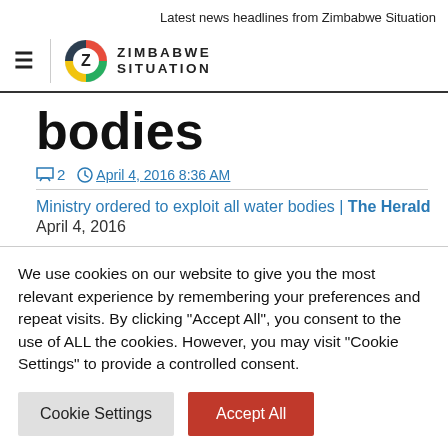Latest news headlines from Zimbabwe Situation
[Figure (logo): Zimbabwe Situation logo with hamburger menu icon, circular Z logo in red/green/black/yellow, and text ZIMBABWE SITUATION]
bodies
2  April 4, 2016 8:36 AM
Ministry ordered to exploit all water bodies | The Herald
April 4, 2016
We use cookies on our website to give you the most relevant experience by remembering your preferences and repeat visits. By clicking "Accept All", you consent to the use of ALL the cookies. However, you may visit "Cookie Settings" to provide a controlled consent.
Cookie Settings   Accept All